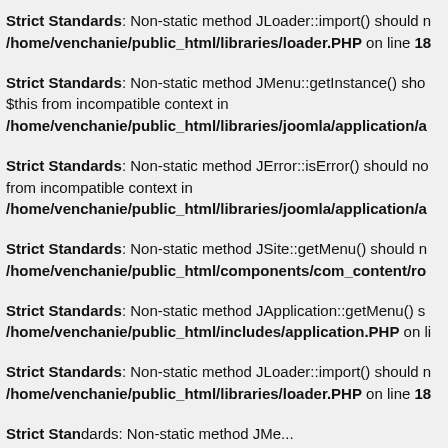Strict Standards: Non-static method JLoader::import() should not be called statically in /home/venchanie/public_html/libraries/loader.php on line 18
Strict Standards: Non-static method JMenu::getInstance() should not be called statically, assuming $this from incompatible context in /home/venchanie/public_html/libraries/joomla/application/a...
Strict Standards: Non-static method JError::isError() should not be called statically, assuming $this from incompatible context in /home/venchanie/public_html/libraries/joomla/application/a...
Strict Standards: Non-static method JSite::getMenu() should not be called statically in /home/venchanie/public_html/components/com_content/ro...
Strict Standards: Non-static method JApplication::getMenu() should not be called statically in /home/venchanie/public_html/includes/application.PHP on li...
Strict Standards: Non-static method JLoader::import() should not be called statically in /home/venchanie/public_html/libraries/loader.php on line 18
Strict Standards: Non-static method JMenu... (continues)